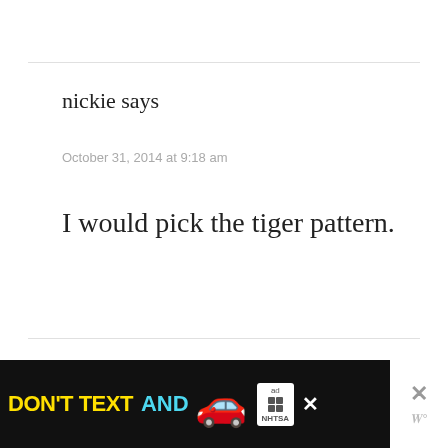nickie says
October 31, 2014 at 9:18 am
I would pick the tiger pattern.
Marcie W. says
[Figure (other): Advertisement banner: DON'T TEXT AND [car emoji] with ad and NHTSA logos, and close buttons]